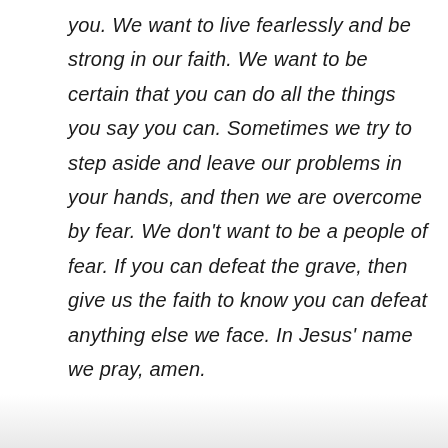you. We want to live fearlessly and be strong in our faith. We want to be certain that you can do all the things you say you can. Sometimes we try to step aside and leave our problems in your hands, and then we are overcome by fear. We don't want to be a people of fear. If you can defeat the grave, then give us the faith to know you can defeat anything else we face. In Jesus' name we pray, amen.